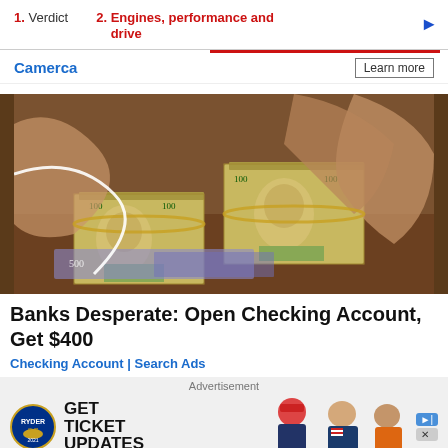1. Verdict   2. Engines, performance and drive
Camerca   Learn more
[Figure (photo): Hands holding stacks of US $100 dollar bills bundled with rubber bands, on a counter with additional euro notes visible underneath.]
Banks Desperate: Open Checking Account, Get $400
Checking Account | Search Ads
Advertisement
[Figure (photo): Ryder Cup advertisement banner showing logo, GET TICKET UPDATES text, and two golfers with American flag-themed outfits.]